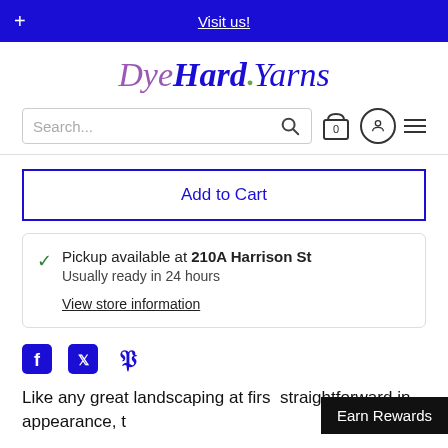+ Visit us!
Dye Hard Yarns
Search...
Add to Cart
Pickup available at 210A Harrison St
Usually ready in 24 hours
View store information
[Figure (illustration): Social media icons: Facebook, Twitter, Pinterest]
Like any great landscaping at first straightforward in appearance, t
Earn Rewards